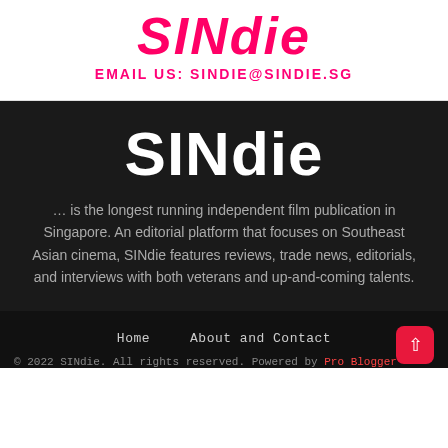SINdie
EMAIL US: SINDIE@SINDIE.SG
SINdie
… is the longest running independent film publication in Singapore. An editorial platform that focuses on Southeast Asian cinema, SINdie features reviews, trade news, editorials, and interviews with both veterans and up-and-coming talents.
Home   About and Contact   © 2022 SINdie. All rights reserved. Powered by Pro Blogger